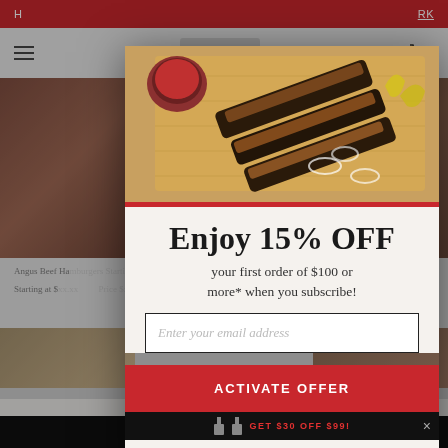[Figure (screenshot): Background website with red top navigation bar, hamburger menu, cart icon, and product listings for beef products]
[Figure (photo): Sliced beef brisket on a cutting board with sauce, onions, and pickled peppers — modal popup hero image]
Enjoy 15% OFF
your first order of $100 or more* when you subscribe!
Enter your email address
ACTIVATE OFFER
GET $30 OFF $99!
No Thank You
See all specials